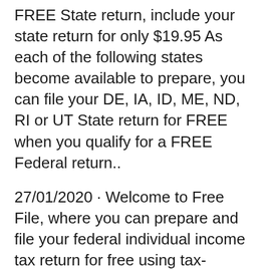FREE State return, include your state return for only $19.95 As each of the following states become available to prepare, you can file your DE, IA, ID, ME, ND, RI or UT State return for FREE when you qualify for a FREE Federal return..
27/01/2020 · Welcome to Free File, where you can prepare and file your federal individual income tax return for free using tax-preparation-and-filing software. Let Free File do the hard work for you with brand-name software or Free File Fillable Forms. Choose a Free File Online option based on your income: Original review: May 3, 2019. Due to a glitch in their software my tax